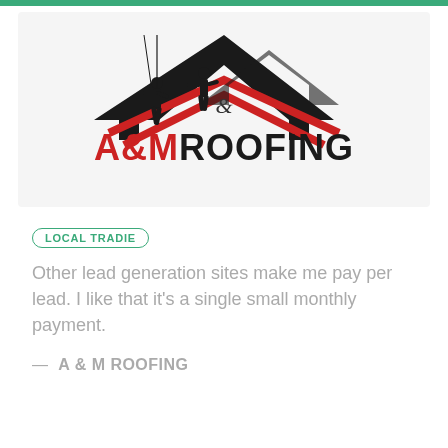[Figure (logo): A&M Roofing logo: silhouette of two workers on a roof with black chevron roofline shapes, red chevron accent, and text 'A&MROOFING' below in red and black]
LOCAL TRADIE
Other lead generation sites make me pay per lead. I like that it's a single small monthly payment.
— A & M ROOFING